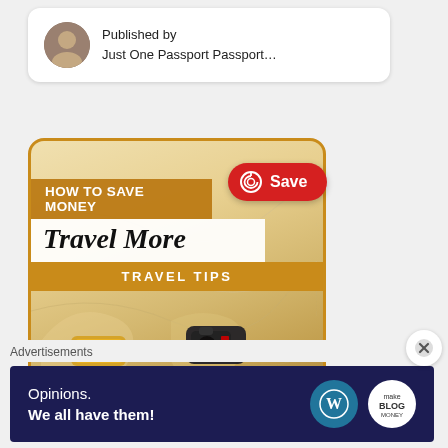Published by
Just One Passport Passport…
[Figure (screenshot): Pinterest pin card showing 'HOW TO SAVE MONEY Travel More TRAVEL TIPS' with a camera and map in the background, with a red Save button overlay]
[Figure (screenshot): Close/dismiss button (X circle) on right side]
Advertisements
[Figure (screenshot): Advertisement banner with dark blue background reading 'Opinions. We all have them!' with WordPress and another logo]